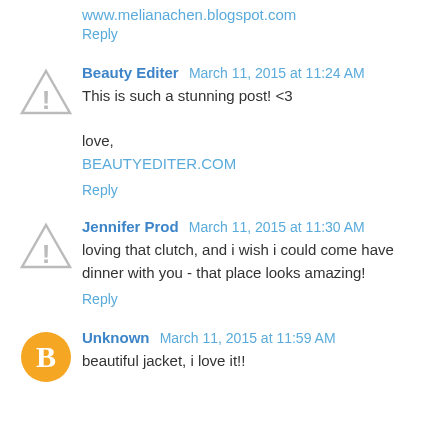www.melianachen.blogspot.com
Reply
Beauty Editer  March 11, 2015 at 11:24 AM
This is such a stunning post! <3

love,
BEAUTYEDITER.COM
Reply
Jennifer Prod  March 11, 2015 at 11:30 AM
loving that clutch, and i wish i could come have dinner with you - that place looks amazing!
Reply
Unknown  March 11, 2015 at 11:59 AM
beautiful jacket, i love it!!